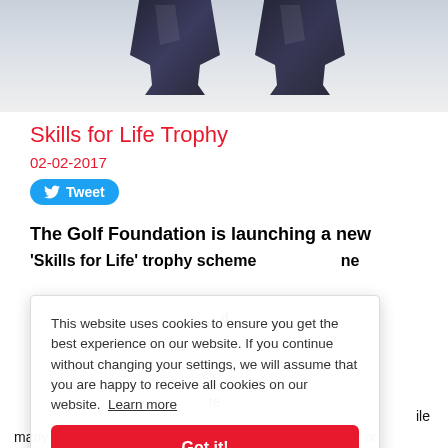[Figure (photo): Photo of dark trophies/awards against a light background, partially cropped at top]
Skills for Life Trophy
02-02-2017
Tweet
The Golf Foundation is launching a new 'Skills for Life' trophy scheme to recognise and reward young golfers who have demonstrated...
This website uses cookies to ensure you get the best experience on our website. If you continue without changing your settings, we will assume that you are happy to receive all cookies on our website. Learn more
Got it!
many club members might also suggest 'sportsmanship' or